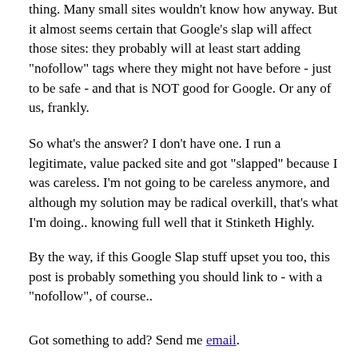thing. Many small sites wouldn't know how anyway. But it almost seems certain that Google's slap will affect those sites: they probably will at least start adding "nofollow" tags where they might not have before - just to be safe - and that is NOT good for Google. Or any of us, frankly.
So what's the answer? I don't have one. I run a legitimate, value packed site and got "slapped" because I was careless. I'm not going to be careless anymore, and although my solution may be radical overkill, that's what I'm doing.. knowing full well that it Stinketh Highly.
By the way, if this Google Slap stuff upset you too, this post is probably something you should link to - with a "nofollow", of course..
Got something to add? Send me email.